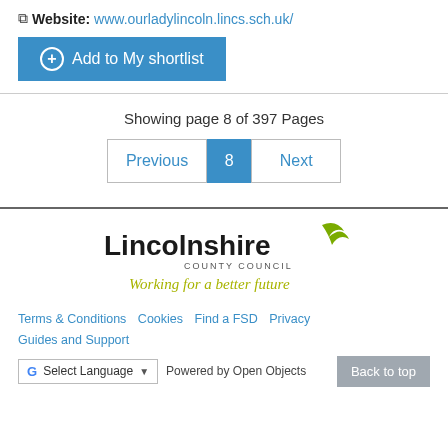Website: www.ourladylincoln.lincs.sch.uk/
Add to My shortlist
Showing page 8 of 397 Pages
Previous  8  Next
[Figure (logo): Lincolnshire County Council logo with tagline 'Working for a better future']
Terms & Conditions  Cookies  Find a FSD  Privacy  Guides and Support  Select Language  Powered by Open Objects  Back to top